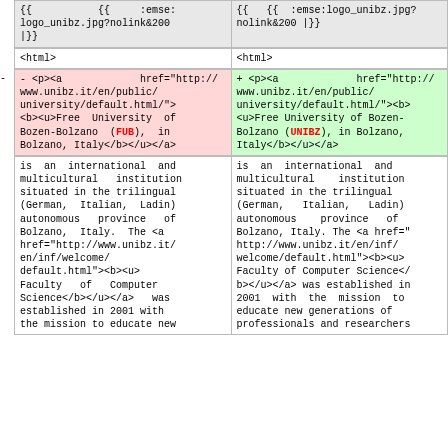| Left (old) | Right (new) |
| --- | --- |
| {{ {{ :emse: logo_unibz.jpg?nolink&200 |}} | {{ {{ :emse:logo_unibz.jpg?nolink&200 |}} |
| <html> | <html> |
| - <p><a href="http://www.unibz.it/en/public/university/default.html/"><b><u>Free University of Bozen-Bolzano (FUB), in Bolzano, Italy</b></u></a> | + <p><a href="http://www.unibz.it/en/public/university/default.html/"><b><u>Free University of Bozen-Bolzano (UNIBZ), in Bolzano, Italy</b></u></a> |
| is an international and multicultural institution situated in the trilingual (German, Italian, Ladin) autonomous province of Bolzano, Italy. The <a href="http://www.unibz.it/en/inf/welcome/default.html"><b><u>Faculty of Computer Science</b></u></a> was established in 2001 with the mission to educate new | is an international and multicultural institution situated in the trilingual (German, Italian, Ladin) autonomous province of Bolzano, Italy. The <a href="http://www.unibz.it/en/inf/welcome/default.html"><b><u>Faculty of Computer Science</b></u></a> was established in 2001 with the mission to educate new generations of professionals and researchers |